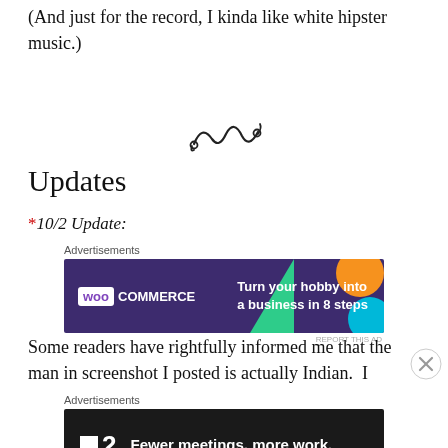(And just for the record, I kinda like white hipster music.)
[Figure (illustration): Decorative swirl/flourish divider]
Updates
*10/2 Update:
[Figure (screenshot): WooCommerce advertisement banner: 'Turn your hobby into a business in 8 steps']
Some readers have rightfully informed me that the man in screenshot I posted is actually Indian.  I
[Figure (screenshot): F2 advertisement banner: 'Fewer meetings, more work.']